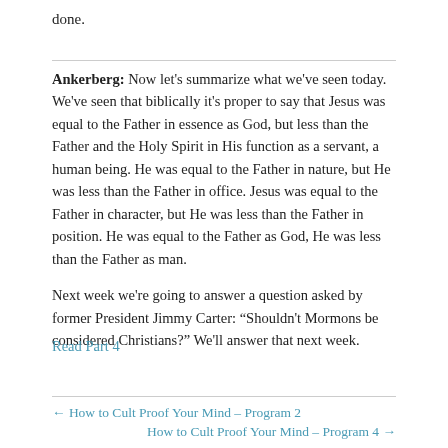done.
Ankerberg: Now let's summarize what we've seen today. We've seen that biblically it's proper to say that Jesus was equal to the Father in essence as God, but less than the Father and the Holy Spirit in His function as a servant, a human being. He was equal to the Father in nature, but He was less than the Father in office. Jesus was equal to the Father in character, but He was less than the Father in position. He was equal to the Father as God, He was less than the Father as man.

Next week we're going to answer a question asked by former President Jimmy Carter: “Shouldn't Mormons be considered Christians?” We'll answer that next week.
Read Part 4
← How to Cult Proof Your Mind – Program 2
How to Cult Proof Your Mind – Program 4 →